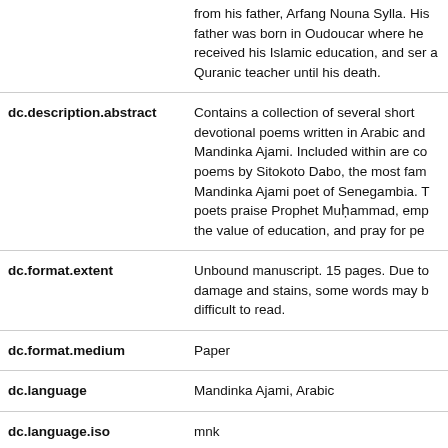| Field | Value |
| --- | --- |
| (continuation) | from his father, Arfang Nouna Sylla. His father was born in Oudoucar where he received his Islamic education, and served as a Quranic teacher until his death. |
| dc.description.abstract | Contains a collection of several short devotional poems written in Arabic and Mandinka Ajami. Included within are copies of poems by Sitokoto Dabo, the most famous Mandinka Ajami poet of Senegambia. The poets praise Prophet Muḥammad, emphasize the value of education, and pray for peace. |
| dc.format.extent | Unbound manuscript. 15 pages. Due to damage and stains, some words may be difficult to read. |
| dc.format.medium | Paper |
| dc.language | Mandinka Ajami, Arabic |
| dc.language.iso | mnk |
| dc.language.iso | ar |